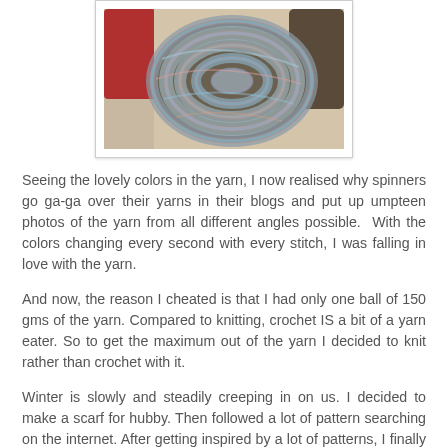[Figure (photo): A coiled skein of multicolored hand-spun yarn with colors including blue, pink, gray, and teal, displayed against a light background with a red object partially visible behind it.]
Seeing the lovely colors in the yarn, I now realised why spinners go ga-ga over their yarns in their blogs and put up umpteen photos of the yarn from all different angles possible.  With the colors changing every second with every stitch, I was falling in love with the yarn.
And now, the reason I cheated is that I had only one ball of 150 gms of the yarn. Compared to knitting, crochet IS a bit of a yarn eater. So to get the maximum out of the yarn I decided to knit rather than crochet with it.
Winter is slowly and steadily creeping in on us. I decided to make a scarf for hubby. Then followed a lot of pattern searching on the internet. After getting inspired by a lot of patterns, I finally decided to "design" my own pattern.